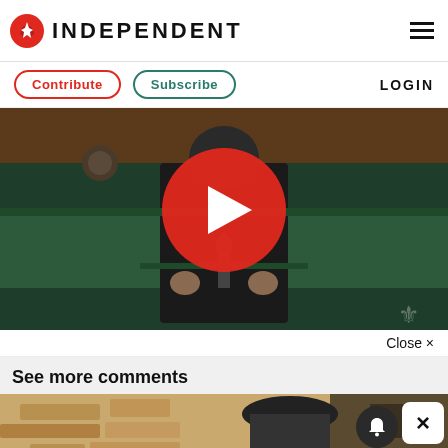INDEPENDENT
Contribute  Subscribe  LOGIN
[Figure (screenshot): Video player showing a person speaking in a parliamentary chamber with green leather benches, with a large red play button overlay in the center]
Close ×
See more comments
[Figure (photo): Outdoor scene with sandy/stone wall background showing partial view of a building and a person wearing a hat, with a notification bell button and a close X button overlaid]
[Figure (screenshot): Advertisement bar at bottom with circular logo, checkmark icon, 'In-store shopping' text, and a blue diamond-shaped arrow icon]